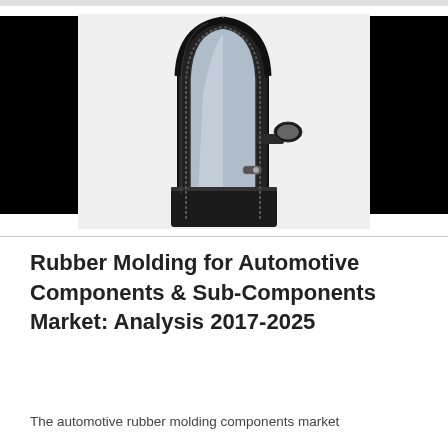[Figure (photo): Photo of an automotive car door frame with rubber molding seals, showing a black door frame with window channel rubber strips and a side mirror. Two large black rectangular panels flank the central image on left and right sides.]
Rubber Molding for Automotive Components & Sub-Components Market: Analysis 2017-2025
The automotive rubber molding components market